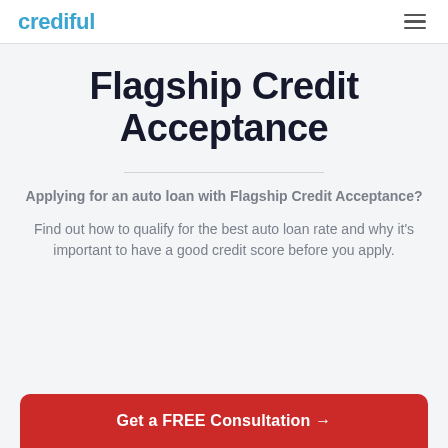crediful
Flagship Credit Acceptance
Applying for an auto loan with Flagship Credit Acceptance?
Find out how to qualify for the best auto loan rate and why it's important to have a good credit score before you apply.
Get a FREE Consultation →